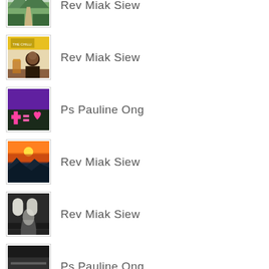Rev Miak Siew
Rev Miak Siew
Ps Pauline Ong
Rev Miak Siew
Rev Miak Siew
Ps Pauline Ong